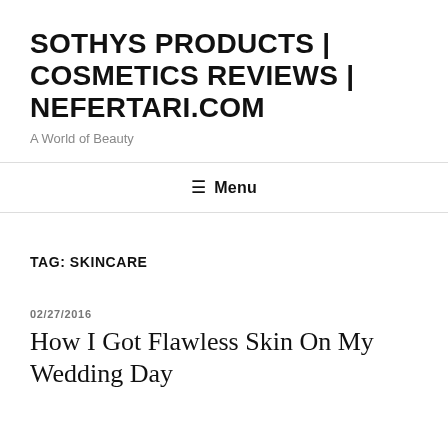SOTHYS PRODUCTS | COSMETICS REVIEWS | NEFERTARI.COM
A World of Beauty
≡ Menu
TAG: SKINCARE
02/27/2016
How I Got Flawless Skin On My Wedding Day